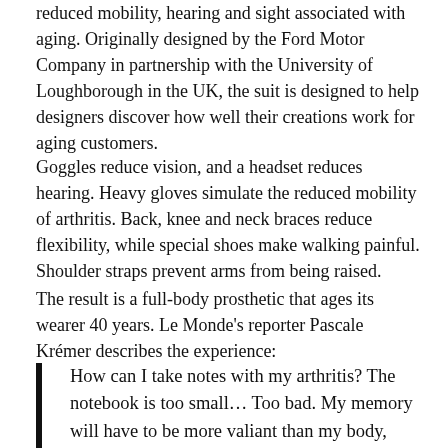reduced mobility, hearing and sight associated with aging. Originally designed by the Ford Motor Company in partnership with the University of Loughborough in the UK, the suit is designed to help designers discover how well their creations work for aging customers.
Goggles reduce vision, and a headset reduces hearing. Heavy gloves simulate the reduced mobility of arthritis. Back, knee and neck braces reduce flexibility, while special shoes make walking painful. Shoulder straps prevent arms from being raised.
The result is a full-body prosthetic that ages its wearer 40 years. Le Monde's reporter Pascale Krémer describes the experience:
How can I take notes with my arthritis? The notebook is too small… Too bad. My memory will have to be more valiant than my body, heavy and stiff with age.